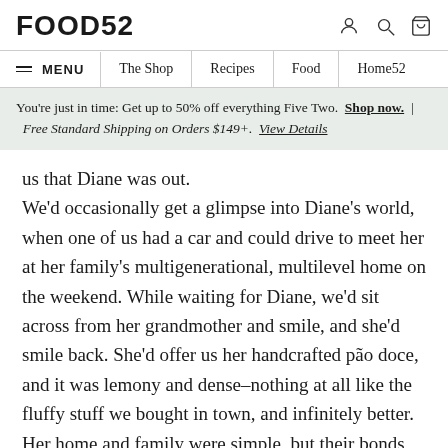FOOD52
≡ MENU  The Shop  Recipes  Food  Home52
You're just in time: Get up to 50% off everything Five Two. Shop now.  |  Free Standard Shipping on Orders $149+.  View Details
us that Diane was out.
We'd occasionally get a glimpse into Diane's world, when one of us had a car and could drive to meet her at her family's multigenerational, multilevel home on the weekend. While waiting for Diane, we'd sit across from her grandmother and smile, and she'd smile back. She'd offer us her handcrafted pão doce, and it was lemony and dense–nothing at all like the fluffy stuff we bought in town, and infinitely better. Her home and family were simple, but their bonds were strong, and traditions even stronger.